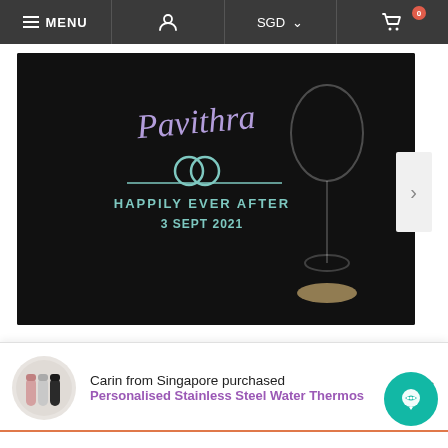≡ MENU | [user icon] | SGD ∨ | [cart icon] 0
[Figure (photo): Product photo of a personalized engraved wine glass with a black gift box showing 'Pavithra HAPPILY EVER AFTER 3 SEPT 2021'. A wine glass with engraving sits on a wooden coaster. Navigation arrow on right.]
Engraved Wine Glass Mr & Mrs Design
SG Customized Gift Station
$96.00
Carin from Singapore purchased
Personalised Stainless Steel Water Thermos...